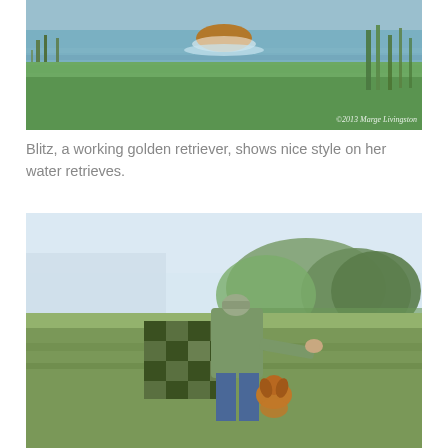[Figure (photo): A golden retriever (Blitz) swimming through water during a retrieve exercise. The dog is visible in the water with green grassy banks in the foreground. Photo watermark reads '©2013 Marge Livingston'.]
Blitz, a working golden retriever, shows nice style on her water retrieves.
[Figure (photo): A person in camouflage clothing and blue jeans, wearing a cap, crouching next to a camouflage blind in an open grassy field, with a golden retriever dog sitting beside them. Trees are visible in the background.]